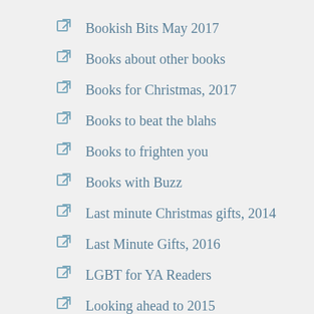Bookish Bits May 2017
Books about other books
Books for Christmas, 2017
Books to beat the blahs
Books to frighten you
Books with Buzz
Last minute Christmas gifts, 2014
Last Minute Gifts, 2016
LGBT for YA Readers
Looking ahead to 2015
Moving Day
My Book Graveyard
My first column – October 6, 2014
New Adult Fiction